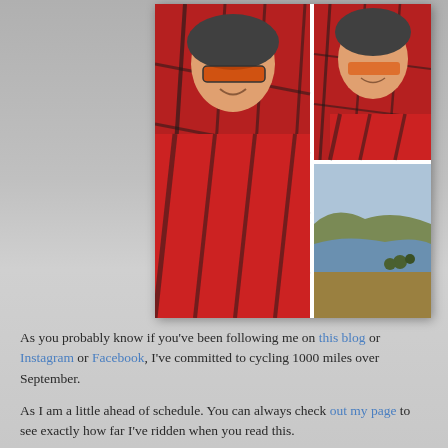[Figure (photo): Collage of three photos: a large photo on the left of a cyclist wearing a red GCC jersey and cycling helmet with reflective sunglasses; top-right photo is a closer selfie of the same cyclist; bottom-right photo is a scenic landscape with a lake, hills, and dry grass.]
As you probably know if you've been following me on this blog or Instagram or Facebook, I've committed to cycling 1000 miles over September.
As I am a little ahead of schedule. You can always check out my page to see exactly how far I've ridden when you read this.